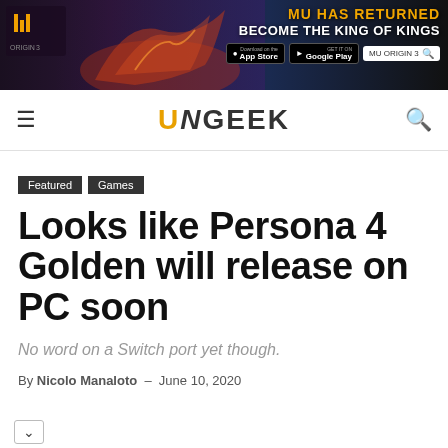[Figure (other): MU Origin 3 advertisement banner with game artwork and text 'MU HAS RETURNED BECOME THE KING OF KINGS' with App Store and Google Play buttons]
UNGEEK navigation bar with hamburger menu and search icon
Featured  Games
Looks like Persona 4 Golden will release on PC soon
No word on a Switch port yet though.
By Nicolo Manaloto - June 10, 2020